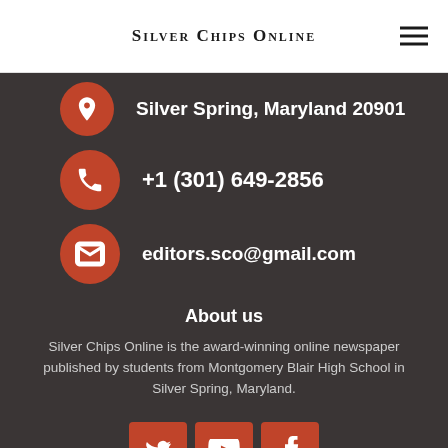Silver Chips Online
Silver Spring, Maryland 20901
+1 (301) 649-2856
editors.sco@gmail.com
About us
Silver Chips Online is the award-winning online newspaper published by students from Montgomery Blair High School in Silver Spring, Maryland.
[Figure (infographic): Social media icons: Twitter, YouTube, Facebook]